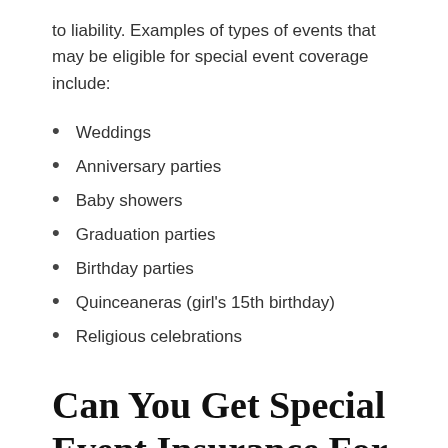to liability. Examples of types of events that may be eligible for special event coverage include:
Weddings
Anniversary parties
Baby showers
Graduation parties
Birthday parties
Quinceaneras (girl's 15th birthday)
Religious celebrations
Can You Get Special Event Insurance For Any Event?
Public events, such as sporting events and dance